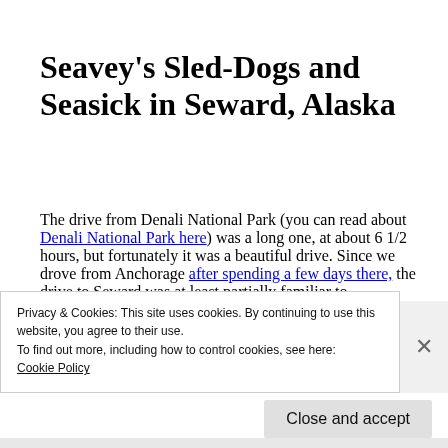Seavey's Sled-Dogs and Seasick in Seward, Alaska
The drive from Denali National Park (you can read about Denali National Park here) was a long one, at about 6 1/2 hours, but fortunately it was a beautiful drive. Since we drove from Anchorage after spending a few days there, the drive to Seward was at least partially familiar to
Privacy & Cookies: This site uses cookies. By continuing to use this website, you agree to their use.
To find out more, including how to control cookies, see here:
Cookie Policy
Close and accept